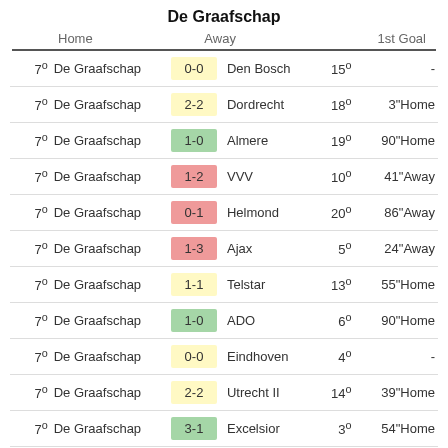De Graafschap
|  | Home | Score | Away |  | 1st Goal |
| --- | --- | --- | --- | --- | --- |
| 7º | De Graafschap | 0-0 | Den Bosch | 15º | - |
| 7º | De Graafschap | 2-2 | Dordrecht | 18º | 3"Home |
| 7º | De Graafschap | 1-0 | Almere | 19º | 90"Home |
| 7º | De Graafschap | 1-2 | VVV | 10º | 41"Away |
| 7º | De Graafschap | 0-1 | Helmond | 20º | 86"Away |
| 7º | De Graafschap | 1-3 | Ajax | 5º | 24"Away |
| 7º | De Graafschap | 1-1 | Telstar | 13º | 55"Home |
| 7º | De Graafschap | 1-0 | ADO | 6º | 90"Home |
| 7º | De Graafschap | 0-0 | Eindhoven | 4º | - |
| 7º | De Graafschap | 2-2 | Utrecht II | 14º | 39"Home |
| 7º | De Graafschap | 3-1 | Excelsior | 3º | 54"Home |